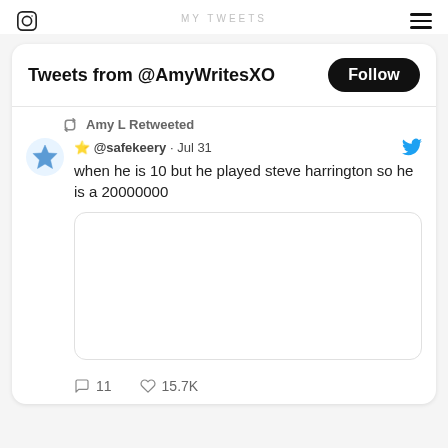MY TWEETS
Tweets from @AmyWritesXO
Amy L Retweeted
🌟 @safekeery · Jul 31
when he is 10 but he played steve harrington so he is a 20000000
[Figure (photo): Blank/empty image placeholder in tweet]
11   15.7K